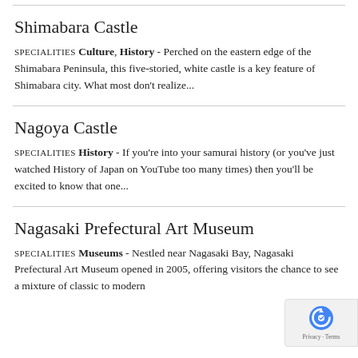Shimabara Castle
SPECIALITIES CULTURE, HISTORY - Perched on the eastern edge of the Shimabara Peninsula, this five-storied, white castle is a key feature of Shimabara city. What most don't realize...
Nagoya Castle
SPECIALITIES HISTORY - If you're into your samurai history (or you've just watched History of Japan on YouTube too many times) then you'll be excited to know that one...
Nagasaki Prefectural Art Museum
SPECIALITIES MUSEUMS - Nestled near Nagasaki Bay, Nagasaki Prefectural Art Museum opened in 2005, offering visitors the chance to see a mixture of classic to modern